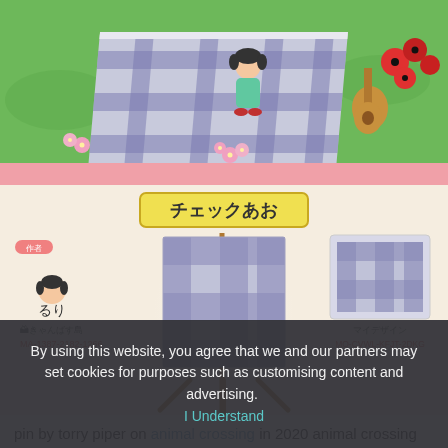[Figure (screenshot): Animal Crossing New Horizons gameplay screenshot showing a character on a blue plaid picnic blanket on green grass with flowers, guitar, and red flowers nearby]
[Figure (screenshot): Animal Crossing design card showing blue plaid fabric design on an easel. Title badge reads 'チェックあお'. Author section shows label '作者', avatar, name 'るり', island 'きゃんばす島', code 'MA-1387-2182-1266'. Right side shows QR pattern with label 'マイデザイン' and code 'MO-CVWL-KFJT-2DKG']
pin by torry piper on animal crossing in 2020 animal crossing animal crossing qr animal games
By using this website, you agree that we and our partners may set cookies for purposes such as customising content and advertising.  I Understand